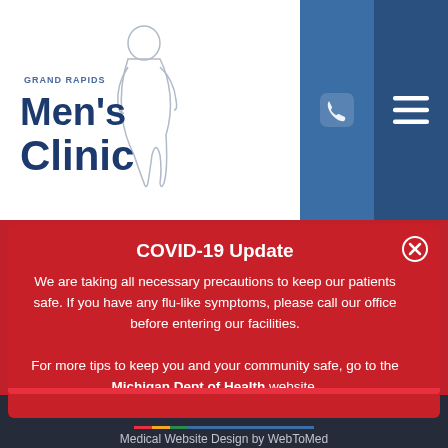[Figure (logo): Grand Rapids Men's Clinic logo with stylized male figure silhouette, dark navy text]
[Figure (other): Navigation bar with phone icon button (blue) and hamburger menu icon button (dark blue)]
COVID-19 Update
We are taking all necessary precautions to keep our patients safe. If you have any flu-like symptoms, please call our office before entering our facilities. For more tips to keep you and your community safe, go to the Michigan Dept of Health website.
[Figure (logo): WebToMed logo in white text on dark background]
Medical Website Design by WebToMed